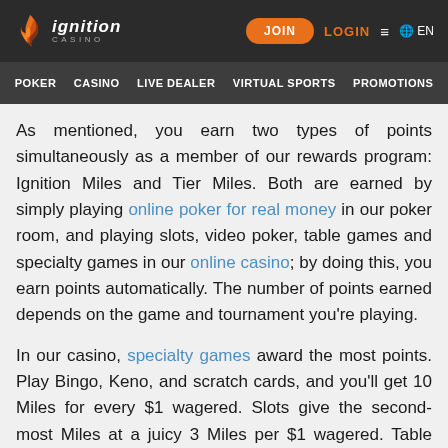Ignition Casino — JOIN  LOGIN  ≡  EN
POKER  CASINO  LIVE DEALER  VIRTUAL SPORTS  PROMOTIONS
As mentioned, you earn two types of points simultaneously as a member of our rewards program: Ignition Miles and Tier Miles. Both are earned by simply playing online poker for real money in our poker room, and playing slots, video poker, table games and specialty games in our online casino; by doing this, you earn points automatically. The number of points earned depends on the game and tournament you're playing.
In our casino, specialty games award the most points. Play Bingo, Keno, and scratch cards, and you'll get 10 Miles for every $1 wagered. Slots give the second-most Miles at a juicy 3 Miles per $1 wagered. Table games give you 0.5 miles,